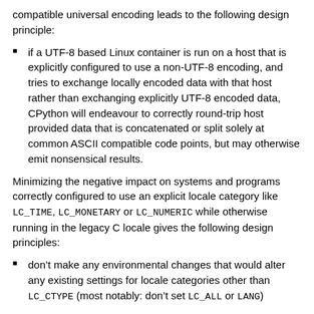compatible universal encoding leads to the following design principle:
if a UTF-8 based Linux container is run on a host that is explicitly configured to use a non-UTF-8 encoding, and tries to exchange locally encoded data with that host rather than exchanging explicitly UTF-8 encoded data, CPython will endeavour to correctly round-trip host provided data that is concatenated or split solely at common ASCII compatible code points, but may otherwise emit nonsensical results.
Minimizing the negative impact on systems and programs correctly configured to use an explicit locale category like LC_TIME, LC_MONETARY or LC_NUMERIC while otherwise running in the legacy C locale gives the following design principles:
don’t make any environmental changes that would alter any existing settings for locale categories other than LC_CTYPE (most notably: don’t set LC_ALL or LANG)
Finally, maintaining compatibility with running arbitrary